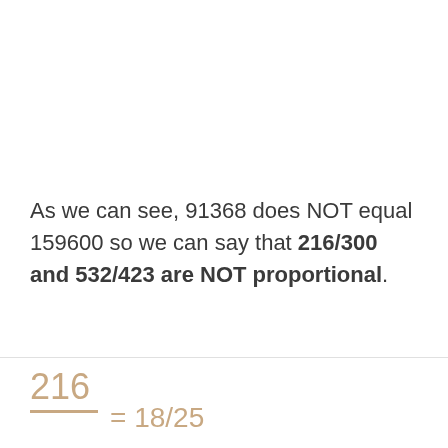As we can see, 91368 does NOT equal 159600 so we can say that 216/300 and 532/423 are NOT proportional.
Let's also try this by reducing the two fractions/ratios down to their lowest terms and see if the resulting ratio is equal.